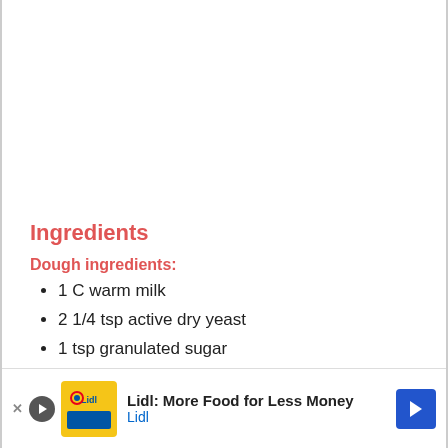Ingredients
Dough ingredients:
1 C warm milk
2 1/4 tsp active dry yeast
1 tsp granulated sugar
4 - 4 1/2 C all purpose flour See note
1/4 C light brown sugar
1/2 tsp salt
1/... (partially visible)
3/... (partially visible)
1/... (partially visible)
[Figure (other): Advertisement banner: Lidl: More Food for Less Money - Lidl logo with yellow/green branding and blue navigation arrow]